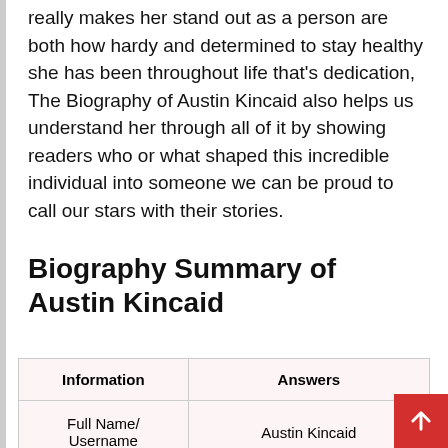really makes her stand out as a person are both how hardy and determined to stay healthy she has been throughout life that's dedication, The Biography of Austin Kincaid also helps us understand her through all of it by showing readers who or what shaped this incredible individual into someone we can be proud to call our stars with their stories.
Biography Summary of Austin Kincaid
| Information | Answers |
| --- | --- |
| Full Name/ Username | Austin Kincaid |
| Date of Birth | 14th January, 1980 |